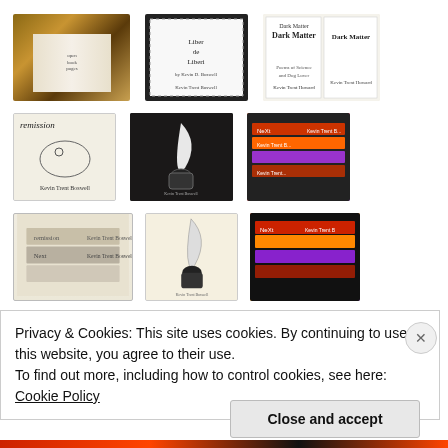[Figure (photo): Grid of book cover photos by Kevin Trent Boswell including 'Liber de Liberi', 'Dark Matter', 'remission', 'Next', 'Flagship' and other poetry/chapbook covers]
Privacy & Cookies: This site uses cookies. By continuing to use this website, you agree to their use.
To find out more, including how to control cookies, see here:
Cookie Policy
Close and accept